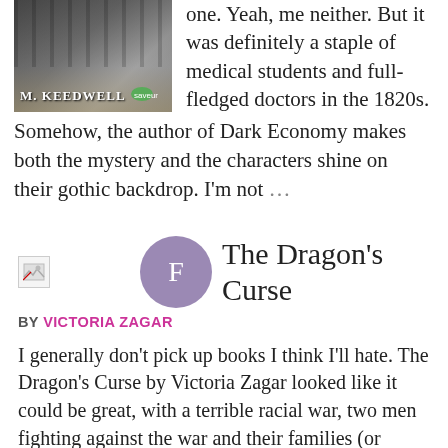[Figure (photo): Book cover of a novel by M. Keedwell with a gate and figure in background, publisher logo visible]
one. Yeah, me neither. But it was definitely a staple of medical students and full-fledged doctors in the 1820s. Somehow, the author of Dark Economy makes both the mystery and the characters shine on their gothic backdrop. I'm not …
[Figure (other): Broken image placeholder (small icon with torn image)]
[Figure (other): Purple circle avatar with letter F]
The Dragon's Curse
BY VICTORIA ZAGAR
I generally don't pick up books I think I'll hate. The Dragon's Curse by Victoria Zagar looked like it could be great, with a terrible racial war, two men fighting against the war and their families (or rather, one